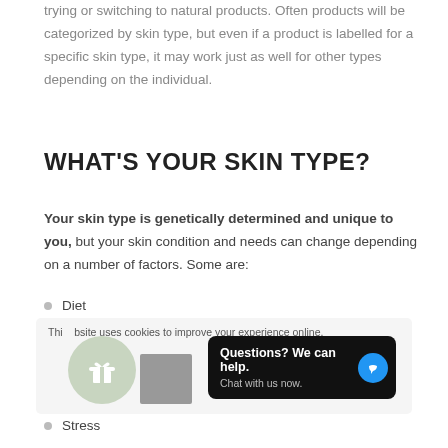trying or switching to natural products. Often products will be categorized by skin type, but even if a product is labelled for a specific skin type, it may work just as well for other types depending on the individual.
WHAT'S YOUR SKIN TYPE?
Your skin type is genetically determined and unique to you, but your skin condition and needs can change depending on a number of factors. Some are:
Diet
[Figure (screenshot): Cookie consent notice with gift icon, gray image placeholder, and a dark chat bubble overlay saying 'Questions? We can help. Chat with us now.' with a blue chat icon]
Stress